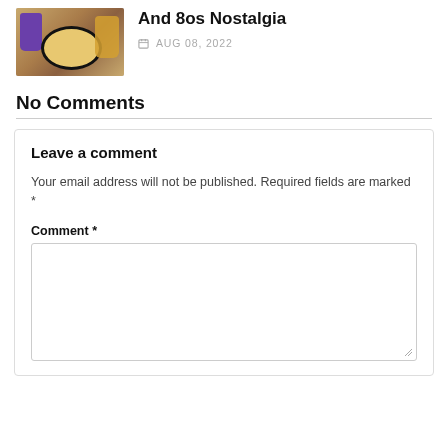[Figure (photo): Thumbnail photo showing pizza on checkered paper with a purple cup on the left and a yellow/amber cup on the right]
And 8os Nostalgia
AUG 08, 2022
No Comments
Leave a comment
Your email address will not be published. Required fields are marked *
Comment *